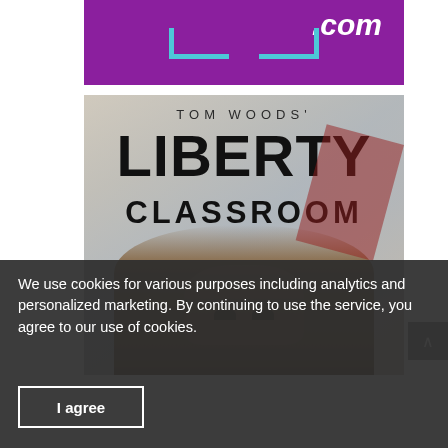[Figure (logo): Purple banner with .com logo and cyan bracket/U-shape design]
[Figure (photo): Tom Woods' Liberty Classroom book/course cover image showing the title text over a photo of a man's face looking upward]
We use cookies for various purposes including analytics and personalized marketing. By continuing to use the service, you agree to our use of cookies.
I agree